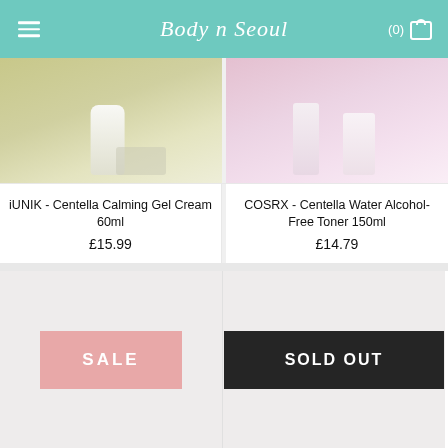Body n Seoul
[Figure (photo): iUNIK Centella Calming Gel Cream product on olive/sage green background]
iUNIK - Centella Calming Gel Cream 60ml
£15.99
[Figure (photo): COSRX Centella Water Alcohol-Free Toner bottles on pink background]
COSRX - Centella Water Alcohol-Free Toner 150ml
£14.79
[Figure (photo): Product image placeholder with SALE badge in pink]
[Figure (photo): Product image placeholder with SOLD OUT badge in black]